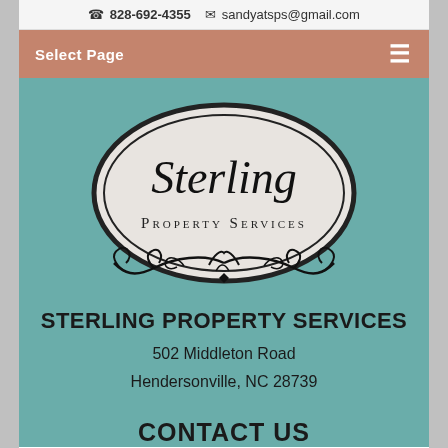828-692-4355   sandyatsps@gmail.com
Select Page
[Figure (logo): Sterling Property Services oval logo with decorative scrollwork beneath]
STERLING PROPERTY SERVICES
502 Middleton Road
Hendersonville, NC 28739
CONTACT US